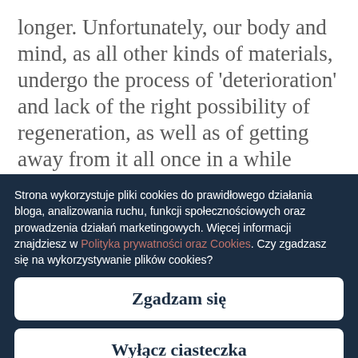longer. Unfortunately, our body and mind, as all other kinds of materials, undergo the process of 'deterioration' and lack of the right possibility of regeneration, as well as of getting away from it all once in a while makes us operate on lower speed and even things which generally used to bring us joy, suddenly start being a huge challenge and are not fun anymore.
Strona wykorzystuje pliki cookies do prawidłowego działania bloga, analizowania ruchu, funkcji społecznościowych oraz prowadzenia działań marketingowych. Więcej informacji znajdziesz w Polityka prywatności oraz Cookies. Czy zgadzasz się na wykorzystywanie plików cookies?
Zgadzam się
Wyłącz ciasteczka